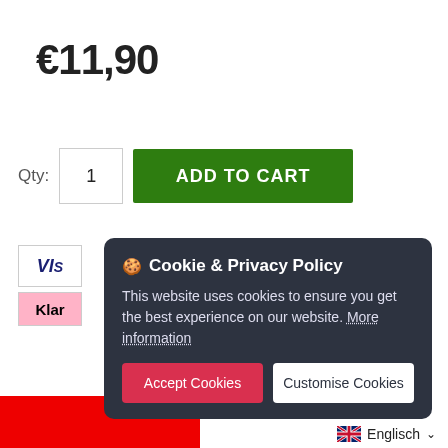€11,90
Qty: 1  ADD TO CART
[Figure (screenshot): Visa payment badge partially visible]
[Figure (screenshot): Klarna payment badge partially visible]
[Figure (screenshot): Cookie & Privacy Policy overlay popup with Accept Cookies and Customise Cookies buttons]
Englisch